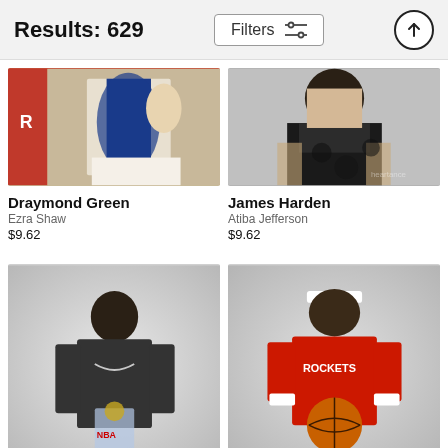Results: 629
[Figure (photo): Photo of Draymond Green basketball action shot - players in Warriors/Rockets uniforms]
[Figure (photo): Photo of James Harden wearing floral patterned pants holding a framed item]
Draymond Green
Ezra Shaw
$9.62
James Harden
Atiba Jefferson
$9.62
[Figure (photo): Photo of basketball player in dark suit holding NBA trophy award]
[Figure (photo): Photo of Rockets player in red uniform holding a basketball with white headband]